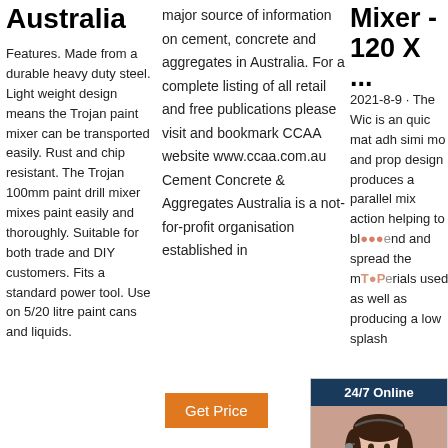Australia
Features. Made from a durable heavy duty steel. Light weight design means the Trojan paint mixer can be transported easily. Rust and chip resistant. The Trojan 100mm paint drill mixer mixes paint easily and thoroughly. Suitable for both trade and DIY customers. Fits a standard power tool. Use on 5/20 litre paint cans and liquids.
major source of information on cement, concrete and aggregates in Australia. For a complete listing of all retail and free publications please visit and bookmark CCAA website www.ccaa.com.au Cement Concrete & Aggregates Australia is a not-for-profit organisation established in
Mixer - 120 X ...
2021-8-9 · The Wic is an quic mat adh simi mo and prop design produces a parallel mix action helping to blend and spread the materials used as well as producing a low splash
[Figure (infographic): 24/7 Online chat widget with dark blue header, photo of woman with headset, orange italic 'Click here for free chat!' text on dark background, and orange QUOTATION button]
Get Price